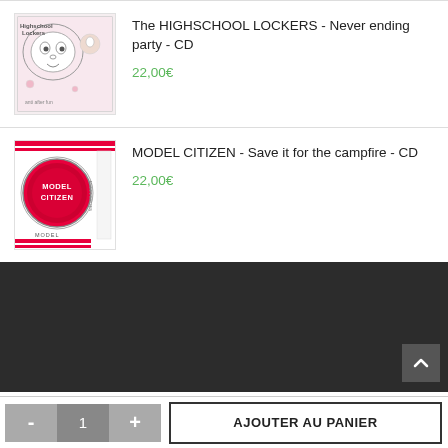[Figure (illustration): Highschool Lockers album cover - Never ending party CD, cartoon style black and white illustration with pink accents]
The HIGHSCHOOL LOCKERS - Never ending party - CD
22,00€
[Figure (illustration): Model Citizen album cover - Save it for the campfire CD, featuring a circular pink/red button badge and text]
MODEL CITIZEN - Save it for the campfire - CD
22,00€
AJOUTER AU PANIER